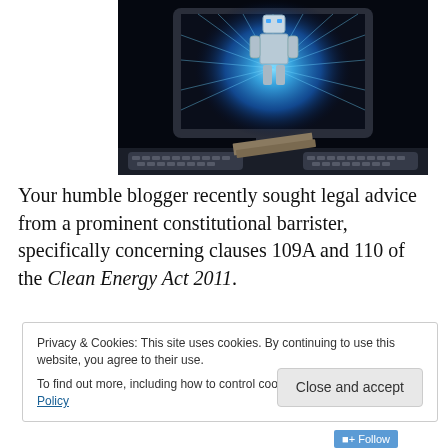[Figure (illustration): A robot or mechanical figure emerging from a computer monitor screen with blue radial light burst effect, with keyboards in the foreground on a dark background.]
Your humble blogger recently sought legal advice from a prominent constitutional barrister, specifically concerning clauses 109A and 110 of the Clean Energy Act 2011.
Privacy & Cookies: This site uses cookies. By continuing to use this website, you agree to their use.
To find out more, including how to control cookies, see here: Cookie Policy